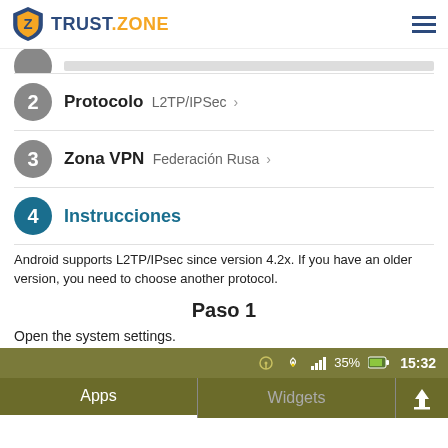TRUST.ZONE
2 Protocolo  L2TP/IPSec >
3 Zona VPN  Federación Rusa >
4 Instrucciones
Android supports L2TP/IPsec since version 4.2x. If you have an older version, you need to choose another protocol.
Paso 1
Open the system settings.
[Figure (screenshot): Android phone screen showing status bar with time 15:32 and 35% battery, and tab bar with Apps and Widgets tabs]